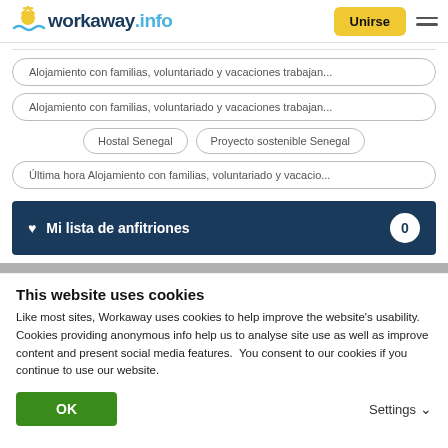workaway.info — Unirse
Alojamiento con familias, voluntariado y vacaciones trabajan...
Alojamiento con familias, voluntariado y vacaciones trabajan...
Hostal Senegal
Proyecto sostenible Senegal
Última hora Alojamiento con familias, voluntariado y vacacio...
Mi lista de anfitriones 0
This website uses cookies
Like most sites, Workaway uses cookies to help improve the website's usability. Cookies providing anonymous info help us to analyse site use as well as improve content and present social media features.  You consent to our cookies if you continue to use our website.
OK
Settings